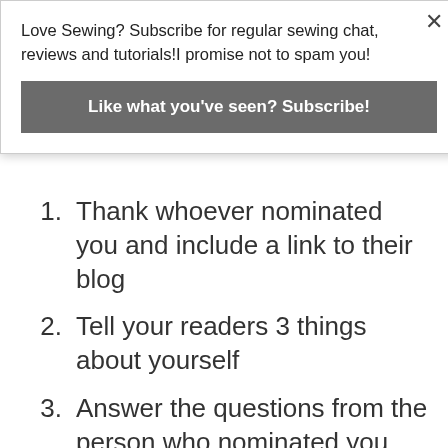Love Sewing? Subscribe for regular sewing chat, reviews and tutorials!I promise not to spam you!
Like what you've seen? Subscribe!
1. Thank whoever nominated you and include a link to their blog
2. Tell your readers 3 things about yourself
3. Answer the questions from the person who nominated you
4. Nominate [a number] of bloggers you feel deserve the award
5. Ask your nominees 5